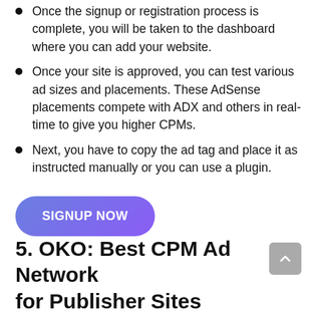Once the signup or registration process is complete, you will be taken to the dashboard where you can add your website.
Once your site is approved, you can test various ad sizes and placements. These AdSense placements compete with ADX and others in real-time to give you higher CPMs.
Next, you have to copy the ad tag and place it as instructed manually or you can use a plugin.
[Figure (other): Blue to purple gradient pill-shaped button with text SIGNUP NOW]
5. OKO: Best CPM Ad Network for Publisher Sites